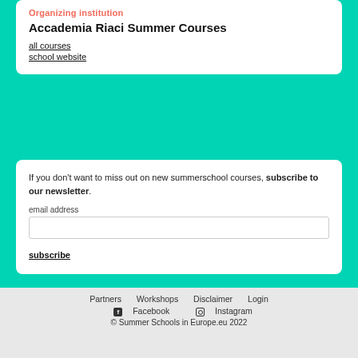Organizing institution
Accademia Riaci Summer Courses
all courses
school website
If you don't want to miss out on new summerschool courses, subscribe to our newsletter.
email address
subscribe
Partners   Workshops   Disclaimer   Login
🅕 Facebook   📷 Instagram
© Summer Schools in Europe.eu 2022